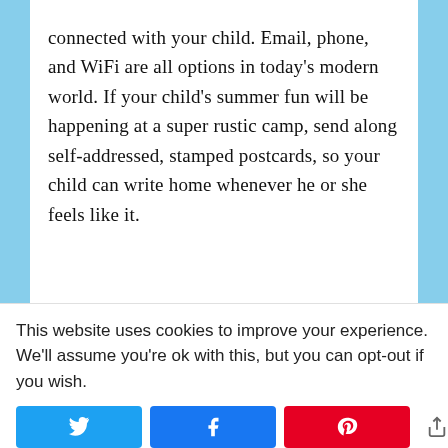connected with your child. Email, phone, and WiFi are all options in today's modern world. If your child's summer fun will be happening at a super rustic camp, send along self-addressed, stamped postcards, so your child can write home whenever he or she feels like it.
Keep it Real
Summer fun doesn't mean that it's all smiles and rainbows. Your child may very well be
This website uses cookies to improve your experience. We'll assume you're ok with this, but you can opt-out if you wish.